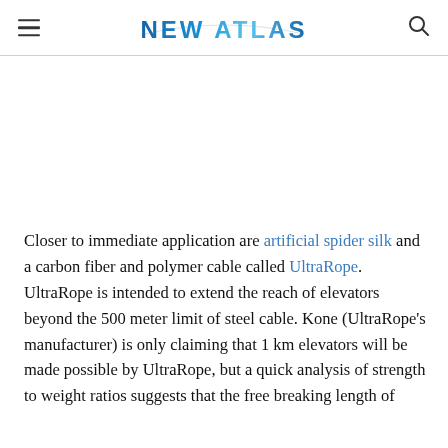NEW ATLAS
Closer to immediate application are artificial spider silk and a carbon fiber and polymer cable called UltraRope. UltraRope is intended to extend the reach of elevators beyond the 500 meter limit of steel cable. Kone (UltraRope's manufacturer) is only claiming that 1 km elevators will be made possible by UltraRope, but a quick analysis of strength to weight ratios suggests that the free breaking length of